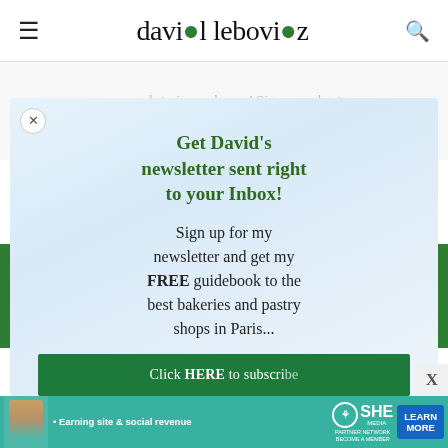david lebovitz
personal stories, and more! Sign up and get my newsletter delivered right to your Inbox!
[Figure (screenshot): Email subscription form with 'Type your email' input field and blue 'Subscribe' button]
Get David's newsletter sent right to your Inbox!
Sign up for my newsletter and get my FREE guidebook to the best bakeries and pastry shops in Paris...
[Figure (screenshot): Green CTA button with 'Click HERE to subscribe' text]
[Figure (infographic): SHE Partner Network advertisement banner with 'Earning site & social revenue', SHE MEDIA logo, PARTNER NETWORK BECOME A MEMBER text, and blue LEARN MORE button]